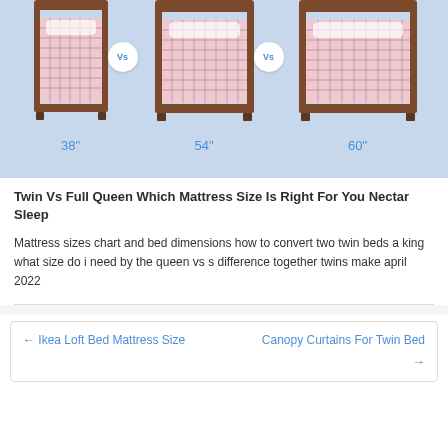[Figure (infographic): Three mattress/bed illustrations side by side on a light blue background, showing Twin (38 inches), Full (54 inches), and Queen (60 inches) sizes. Between each bed is a circular 'Vs' badge. Each bed has a pink plaid mattress and brown wooden frame headboard.]
Twin Vs Full Queen Which Mattress Size Is Right For You Nectar Sleep
Mattress sizes chart and bed dimensions how to convert two twin beds a king what size do i need by the queen vs s difference together twins make april 2022
← Ikea Loft Bed Mattress Size
Canopy Curtains For Twin Bed →